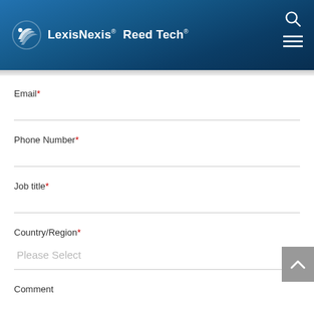LexisNexis Reed Tech
Email*
Phone Number*
Job title*
Country/Region*
Please Select
Comment